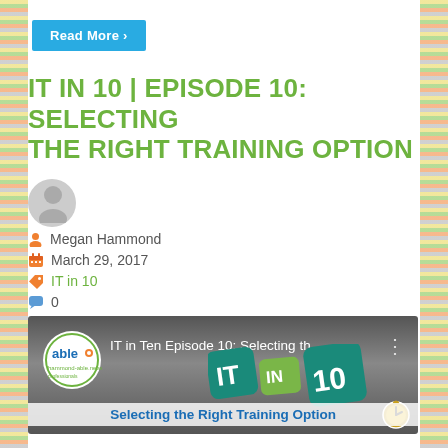[Figure (screenshot): Read More button in cyan/blue]
IT IN 10 | EPISODE 10: SELECTING THE RIGHT TRAINING OPTION
[Figure (illustration): Gray circular avatar placeholder with person silhouette]
Megan Hammond
March 29, 2017
IT in 10
0
[Figure (screenshot): YouTube-style video thumbnail for IT in Ten Episode 10: Selecting the Right Training Option, showing able logo, IT IN 10 tiles, and bottom caption 'Selecting the Right Training Option']